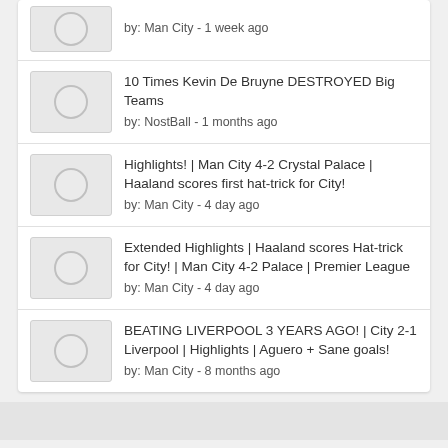by: Man City - 1 week ago
10 Times Kevin De Bruyne DESTROYED Big Teams
by: NostBall - 1 months ago
Highlights! | Man City 4-2 Crystal Palace | Haaland scores first hat-trick for City!
by: Man City - 4 day ago
Extended Highlights | Haaland scores Hat-trick for City! | Man City 4-2 Palace | Premier League
by: Man City - 4 day ago
BEATING LIVERPOOL 3 YEARS AGO! | City 2-1 Liverpool | Highlights | Aguero + Sane goals!
by: Man City - 8 months ago
© Copyright 2022 • Codedfilm • All Rights Reserved